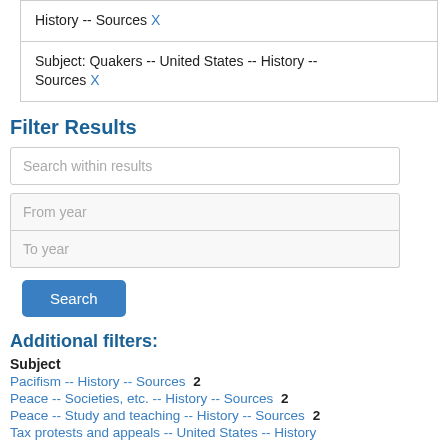History -- Sources X
Subject: Quakers -- United States -- History -- Sources X
Filter Results
Search within results
From year
To year
Search
Additional filters:
Subject
Pacifism -- History -- Sources  2
Peace -- Societies, etc. -- History -- Sources  2
Peace -- Study and teaching -- History -- Sources  2
Tax protests and appeals -- United States -- History